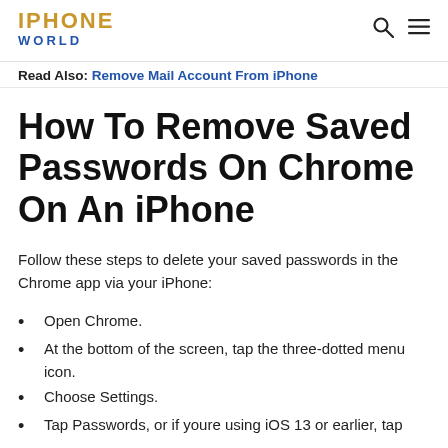IPHONE WORLD
Read Also: Remove Mail Account From iPhone
How To Remove Saved Passwords On Chrome On An iPhone
Follow these steps to delete your saved passwords in the Chrome app via your iPhone:
Open Chrome.
At the bottom of the screen, tap the three-dotted menu icon.
Choose Settings.
Tap Passwords, or if youre using iOS 13 or earlier, tap